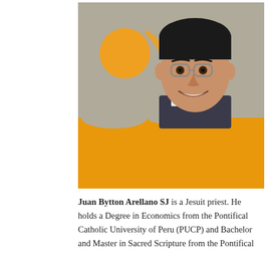[Figure (photo): Headshot of Juan Bytton Arellano SJ, a Jesuit priest wearing glasses and clerical collar, smiling, against a grey background with an orange sun circle and swoosh design, with an orange brushstroke band across the lower portion of the image.]
Juan Bytton Arellano SJ is a Jesuit priest. He holds a Degree in Economics from the Pontifical Catholic University of Peru (PUCP) and Bachelor and Master in Sacred Scripture from the Pontifical